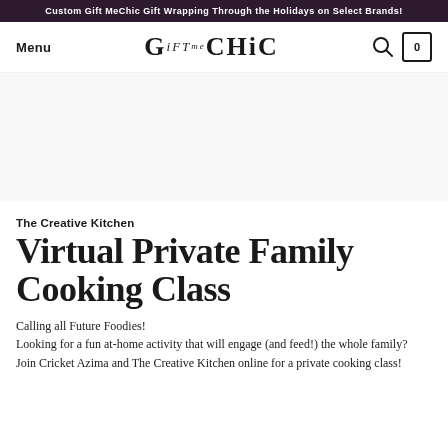Custom Gift MeChic Gift Wrapping Through the Holidays on Select Brands!
[Figure (logo): GiftMeChic logo with stylized serif lettering, search icon, and cart icon showing 0 items]
[Figure (photo): Product image placeholder area (blank/white)]
The Creative Kitchen
Virtual Private Family Cooking Class
Calling all Future Foodies! Looking for a fun at-home activity that will engage (and feed!) the whole family? Join Cricket Azima and The Creative Kitchen online for a private cooking class!